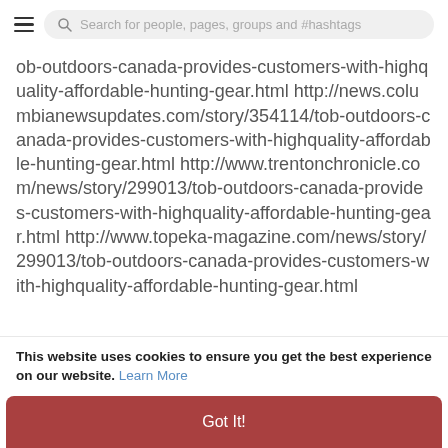Search for people, pages, groups and #hashtags
ob-outdoors-canada-provides-customers-with-highquality-affordable-hunting-gear.html http://news.columbianewsupdates.com/story/354114/tob-outdoors-canada-provides-customers-with-highquality-affordable-hunting-gear.html http://www.trentonchronicle.com/news/story/299013/tob-outdoors-canada-provides-customers-with-highquality-affordable-hunting-gear.html http://www.topeka-magazine.com/news/story/299013/tob-outdoors-canada-provides-customers-with-highquality-affordable-hunting-gear.html
This website uses cookies to ensure you get the best experience on our website. Learn More
Got It!